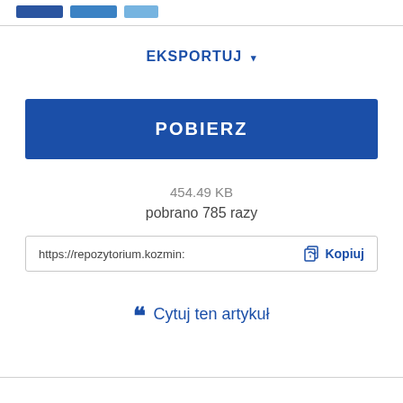[Figure (screenshot): Three blue button chips at the top of the page]
EKSPORTUJ ▾
POBIERZ
454.49 KB
pobrano 785 razy
https://repozytorium.kozmin: Kopiuj
Cytuj ten artykuł